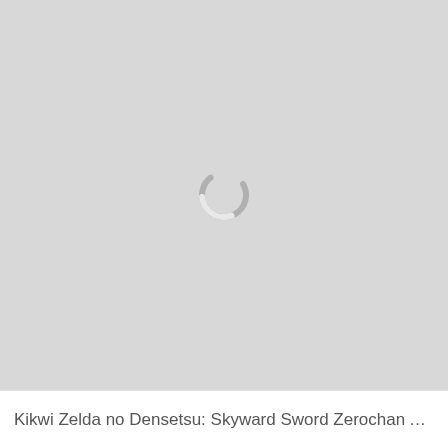[Figure (illustration): A large light grey placeholder image area with a loading spinner icon (circular arc in grey) centered slightly left of middle.]
Kikwi Zelda no Densetsu: Skyward Sword Zerochan An...